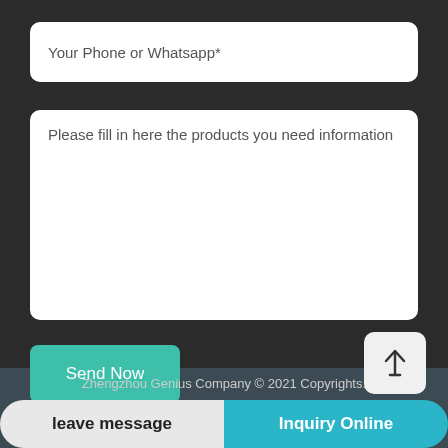Your Phone or Whatsapp*
Please fill in here the products you need information
Send Now
Zhengzhou Genius Company © 2021 Copyrights.
leave message
Inquiry Online